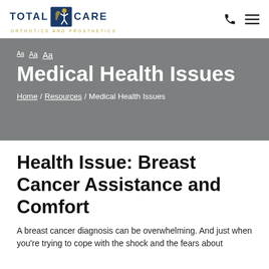[Figure (logo): Total Care Orthotics and Prosthetics logo with blue text and figure icon]
Total Care Orthotics and Prosthetics — navigation header with phone and menu icons
Medical Health Issues
Aa Aa Aa (font size controls)
Home / Resources / Medical Health Issues
Health Issue: Breast Cancer Assistance and Comfort
A breast cancer diagnosis can be overwhelming. And just when you're trying to cope with the shock and the fears about